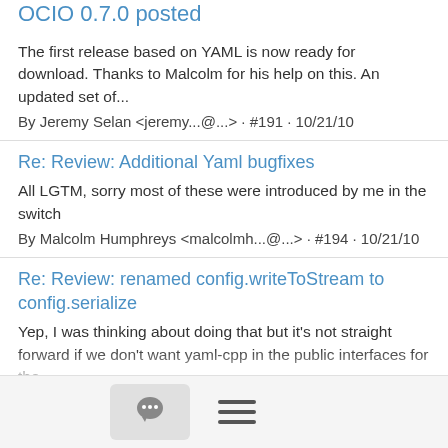OCIO 0.7.0 posted
The first release based on YAML is now ready for download. Thanks to Malcolm for his help on this. An updated set of...
By Jeremy Selan <jeremy...@...> · #191 · 10/21/10
Re: Review: Additional Yaml bugfixes
All LGTM, sorry most of these were introduced by me in the switch
By Malcolm Humphreys <malcolmh...@...> · #194 · 10/21/10
Re: Review: renamed config.writeToStream to config.serialize
Yep, I was thinking about doing that but it's not straight forward if we don't want yaml-cpp in the public interfaces for the...
By Malcolm Humphreys <malcolmh...@...> · #193 · 10/21/10
Review: Additional Yaml bugfixes
These commits fix a bunch of bugs we discovered when testing our in-house apps on real production color configurations. *...
By Jeremy Selan <jeremy...@...> · #190 · 10/21/10